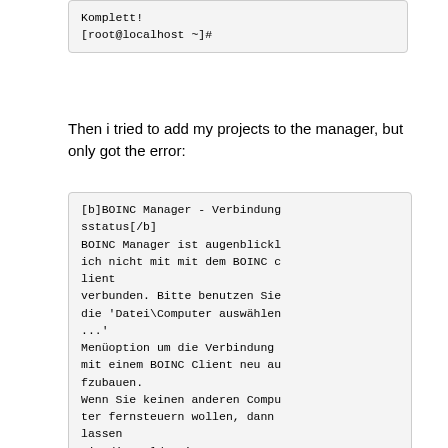Komplett!
[root@localhost ~]#
Then i tried to add my projects to the manager, but only got the error:
[b]BOINC Manager - Verbindungsstatus[/b]
BOINC Manager ist augenblicklich nicht mit mit dem BOINC client
verbunden. Bitte benutzen Sie die 'Datei\Computer auswählen ...'
Menüoption um die Verbindung mit einem BOINC Client neu aufzubauen.
Wenn Sie keinen anderen Computer fernsteuern wollen, dann lassen
Sie die Felder 'Computername und Passwort leer, oder benutzen Sie
'localhost' als Computernam